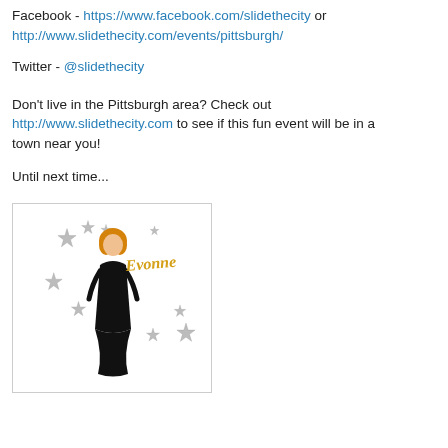Facebook - https://www.facebook.com/slidethecity or http://www.slidethecity.com/events/pittsburgh/
Twitter - @slidethecity
Don't live in the Pittsburgh area? Check out http://www.slidethecity.com to see if this fun event will be in a town near you!
Until next time...
[Figure (illustration): Animated illustration of a woman in a black dress with orange/blonde hair, surrounded by silver sparkle stars, with gold script text 'Evonne' on a white background]